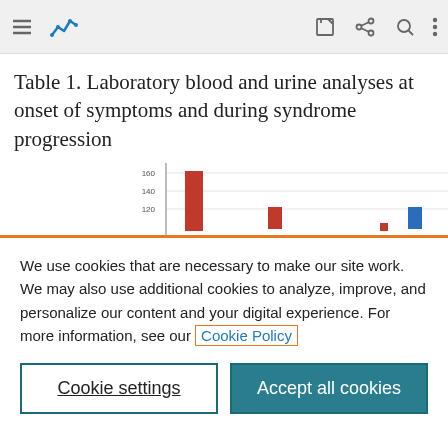Navigation bar with menu, logo, edit, share, search, more icons
Table 1. Laboratory blood and urine analyses at onset of symptoms and during syndrome progression
[Figure (bar-chart): Partial view of a bar chart showing laboratory values, partially obscured by cookie overlay. Visible bars include a tall red bar around 160, a smaller red bar around 120, a small red marker near baseline, and a small blue bar on the right side.]
We use cookies that are necessary to make our site work. We may also use additional cookies to analyze, improve, and personalize our content and your digital experience. For more information, see our Cookie Policy
Cookie settings
Accept all cookies